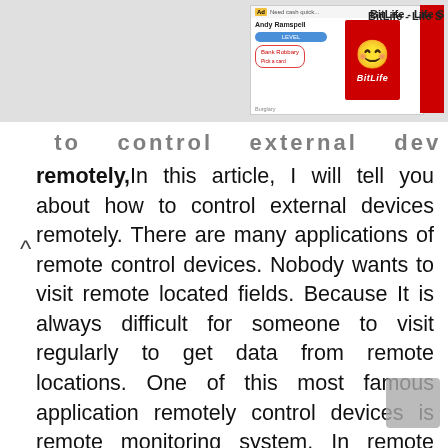[Figure (screenshot): Advertisement banner for BitLife - Life S game, showing a red background with game UI elements and the BitLife logo]
BitLife - Life S
how to control external devices remotely
remotely,In this article, I will tell you about how to control external devices remotely. There are many applications of remote control devices. Nobody wants to visit remote located fields. Because It is always difficult for someone to visit regularly to get data from remote locations. One of this most famous application remotely control devices is remote monitoring system. In remote monitoring system different type of sensors are usually installed at remote location. These sensors are connected with